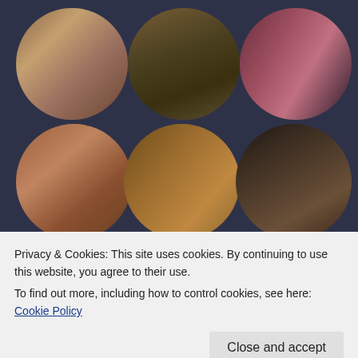[Figure (illustration): A 3x3 grid of circular-cropped paintings on a dark navy background. Row 1: a classical painting of reclining women in a garden scene; a dark landscape/nature painting; a fantasy warrior figure in red and grey armor. Row 2: an Asian-style painting of a reclining figure with attendant; a classical narrative painting with multiple armored figures; a dark still life with candle. Row 3 (partially visible): a Pre-Raphaelite woman with red hair in pensive pose; a figure with feathered headdress reading a book; a reclining figure in a landscape at dusk.]
Privacy & Cookies: This site uses cookies. By continuing to use this website, you agree to their use.
To find out more, including how to control cookies, see here: Cookie Policy
Close and accept